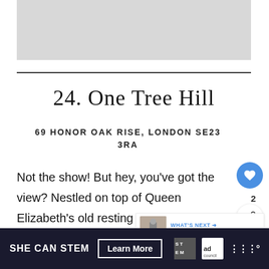[Figure (photo): Gray placeholder image at the top of the page]
24. One Tree Hill
69 HONOR OAK RISE, LONDON SE23 3RA
Not the show! But hey, you've got the view? Nestled on top of Queen Elizabeth's old resting spot, yo catch beautiful views of South Lonɑon
SHE CAN STEM Learn More